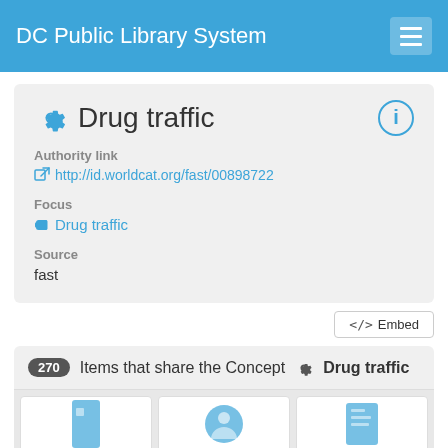DC Public Library System
Drug traffic
Authority link
http://id.worldcat.org/fast/00898722
Focus
Drug traffic
Source
fast
270 Items that share the Concept Drug traffic